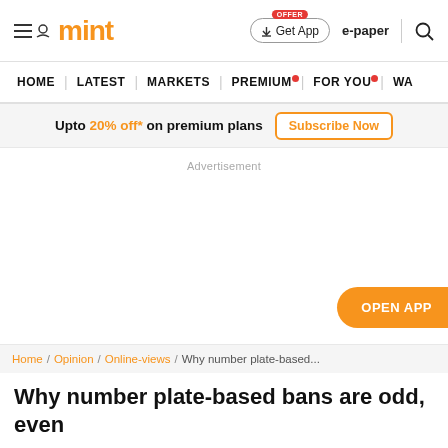mint | Get App | e-paper
HOME | LATEST | MARKETS | PREMIUM | FOR YOU | WA
Upto 20% off* on premium plans Subscribe Now
Advertisement
OPEN APP
Home / Opinion / Online-views / Why number plate-based...
Why number plate-based bans are odd, even